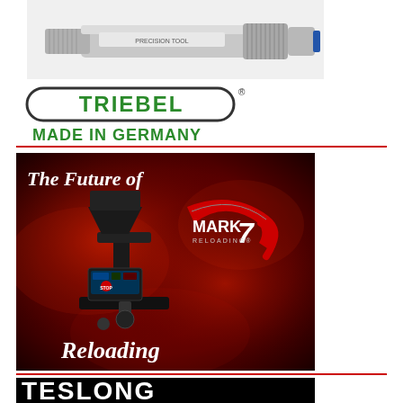[Figure (photo): A metal cylindrical product/cartridge tool shown horizontally, appears to be a reloading die or similar precision instrument]
[Figure (logo): Triebel logo with green text inside a rounded rectangle border with 'MADE IN GERMANY' below in green]
[Figure (photo): Mark 7 Reloading advertisement showing a reloading press machine on a dark red smoky background with text 'The Future of Reloading' and Mark 7 Reloading logo]
[Figure (logo): Teslong logo in white text on black background, partially visible at the bottom of the page]